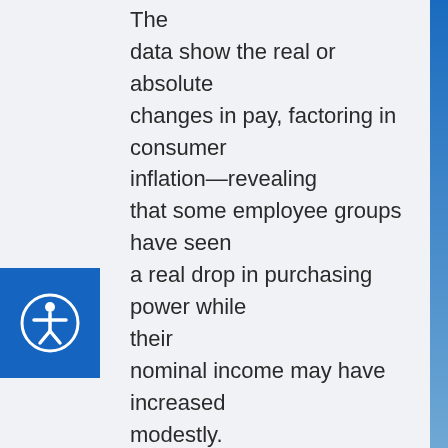The data show the real or absolute changes in pay, factoring in consumer inflation—revealing that some employee groups have seen a real drop in purchasing power while their nominal income may have increased modestly.
Other developed nations experienced flat to modest inflation-adjusted salary growth since 2008, while emerging markets saw both the best (China, Indonesia and Mexico) and the worst (Turkey, Argentina, Russia…